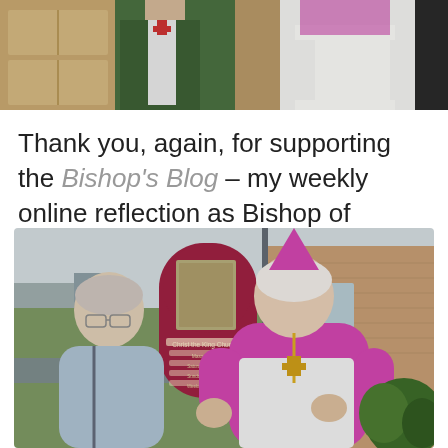[Figure (photo): Two clergy figures in vestments indoors, partial view of a wooden desk/cabinet in background]
Thank you, again, for supporting the Bishop's Blog – my weekly online reflection as Bishop of Lancaster!
[Figure (photo): A bishop in full purple/magenta vestments and mitre speaking with an elderly person outdoors in front of a Christ the King Church sign]